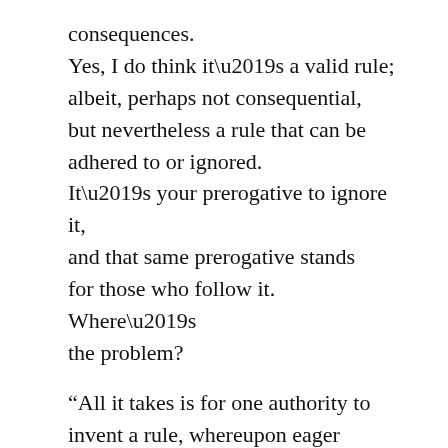consequences. Yes, I do think it’s a valid rule; albeit, perhaps not consequential, but nevertheless a rule that can be adhered to or ignored. It’s your prerogative to ignore it, and that same prerogative stands for those who follow it. Where’s the problem?
“All it takes is for one authority to invent a rule, whereupon eager rule-collectors will accept it, repeat it, and proselytise for it…” And all it takes is for one authority